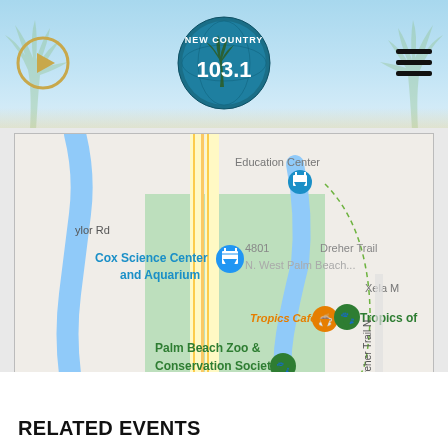[Figure (logo): New Country 103.1 radio station logo - circular badge with teal/blue colors and palm tree]
[Figure (map): Google Maps screenshot showing Palm Beach Zoo & Conservation Society area, Cox Science Center and Aquarium, Tropics Cafe, Dreher Trail N, Summit Blvd, N. West Palm Beach area]
RELATED EVENTS